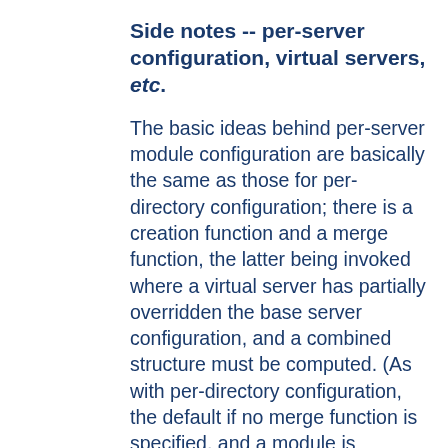Side notes -- per-server configuration, virtual servers, etc.
The basic ideas behind per-server module configuration are basically the same as those for per-directory configuration; there is a creation function and a merge function, the latter being invoked where a virtual server has partially overridden the base server configuration, and a combined structure must be computed. (As with per-directory configuration, the default if no merge function is specified, and a module is configured in some virtual server, is that the base configuration is simply